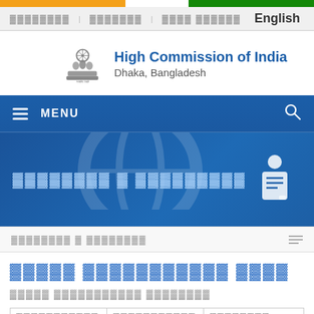High Commission of India, Dhaka, Bangladesh — English
[Figure (logo): Emblem of India (Ashoka Pillar) logo alongside High Commission of India, Dhaka, Bangladesh branding]
High Commission of India
Dhaka, Bangladesh
MENU (navigation bar with Bangla text banner)
Bangla navigation breadcrumb strip
Bangla page title (placeholder)
Bangla page subtitle (placeholder)
| Column 1 | Column 2 | Column 3 |
| --- | --- | --- |